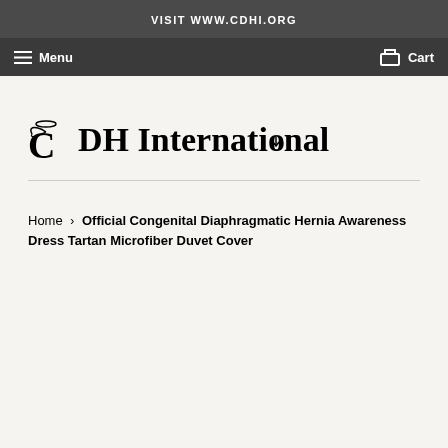VISIT WWW.CDHI.ORG
Menu  Cart
[Figure (logo): CDH International logo with angel wing and halo on the letter C, stylized text reading CDH International]
Home › Official Congenital Diaphragmatic Hernia Awareness Dress Tartan Microfiber Duvet Cover